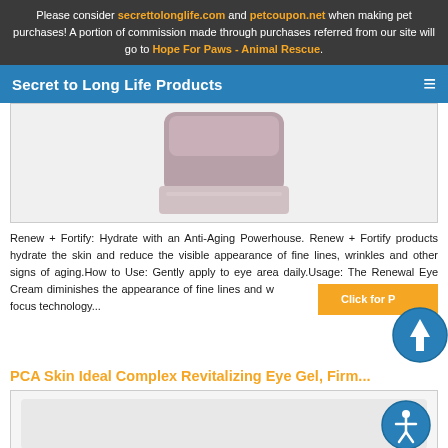Please consider secrettolonglife.com and petcoupon.net when making pet purchases! A portion of commission made through purchases referred from our site will go to Hope For Paws - Animal Rescue.
Secret to Long Life Products
[Figure (photo): Product image of a cosmetic jar/eye cream, partially visible at bottom, shown in a white bordered box]
Renew + Fortify: Hydrate with an Anti-Aging Powerhouse. Renew + Fortify products hydrate the skin and reduce the visible appearance of fine lines, wrinkles and other signs of aging.How to Use: Gently apply to eye area daily.Usage: The Renewal Eye Cream diminishes the appearance of fine lines and wrinkles around the eyes with soft-focus technology...
PCA Skin Ideal Complex Revitalizing Eye Gel, Firm...
[Figure (photo): Second product image box, mostly white/light gray, partially visible at bottom of page]